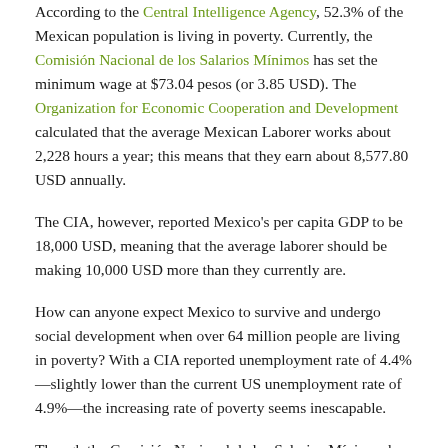According to the Central Intelligence Agency, 52.3% of the Mexican population is living in poverty. Currently, the Comisión Nacional de los Salarios Mínimos has set the minimum wage at $73.04 pesos (or 3.85 USD). The Organization for Economic Cooperation and Development calculated that the average Mexican Laborer works about 2,228 hours a year; this means that they earn about 8,577.80 USD annually.
The CIA, however, reported Mexico's per capita GDP to be 18,000 USD, meaning that the average laborer should be making 10,000 USD more than they currently are.
How can anyone expect Mexico to survive and undergo social development when over 64 million people are living in poverty? With a CIA reported unemployment rate of 4.4%—slightly lower than the current US unemployment rate of 4.9%—the increasing rate of poverty seems inescapable.
Though the Comisión Nacional de los Salarios Mínimos has agreed that the minimum wage will be raised to at least 4.00 USD by the end of this year, it isn't enough. The Mexican working class works the most hours yet receives one of the lowest incomes.